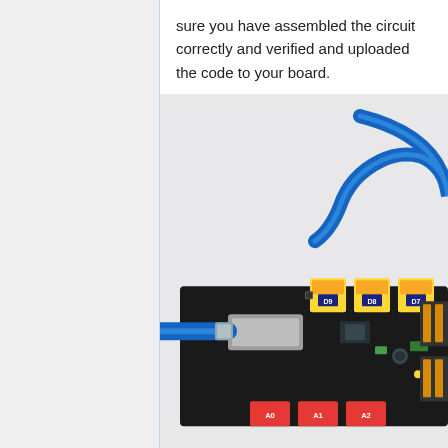sure you have assembled the circuit correctly and verified and uploaded the code to your board.
[Figure (photo): Photo of an Arduino-compatible development board (black PCB) connected via a blue USB cable. The board has yellow connector blocks labeled D9, D8, D7 along the top edge and red connector blocks labeled A0, A1, A2 along the bottom edge. A blue jumper wire curves from the top right. The board is on a light gray/white surface.]